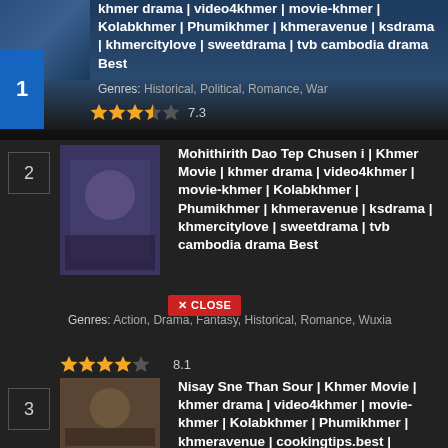khmer drama | video4khmer | movie-khmer | Kolabkhmer | Phumikhmer | khmeravenue | ksdrama | khmercitylove | sweetdrama | tvb cambodia drama Best
Genres: Historical, Political, Romance, War
★★★½ 7.3
Mohithirith Dao Tep Chusen i | Khmer Movie | khmer drama | video4khmer | movie-khmer | Kolabkhmer | Phumikhmer | khmeravenue | ksdrama | khmercitylove | sweetdrama | tvb cambodia drama Best
✕ CLOSE
Genres: Action, Drama, Fantasy, Historical, Romance, Wuxia
★★★★☆ 8.1
Nisay Sne Than Sour | Khmer Movie | khmer drama | video4khmer | movie-khmer | Kolabkhmer | Phumikhmer | khmeravenue | cookingtips.best | khmercitylove | tvb cambodia drama Best
Genres: Comedy, Drama, Fantasy, Historical, Romance
★★★★☆ 8.7